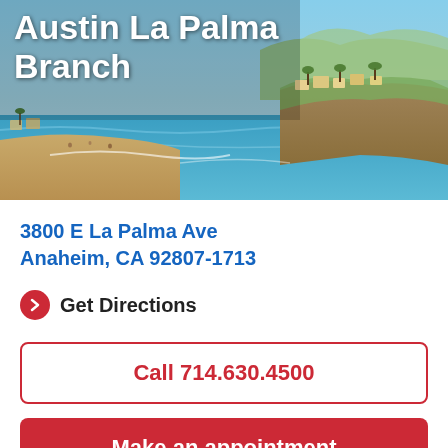[Figure (photo): Aerial coastal landscape photo of a California beach with cliffs, palm trees, homes, and blue ocean water. White bold text overlay reads 'Austin La Palma Branch'.]
Austin La Palma Branch
3800 E La Palma Ave
Anaheim, CA 92807-1713
Get Directions
Call 714.630.4500
Make an appointment
Hours